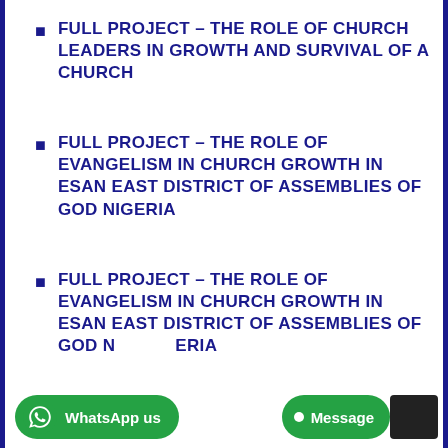FULL PROJECT – THE ROLE OF CHURCH LEADERS IN GROWTH AND SURVIVAL OF A CHURCH
FULL PROJECT – THE ROLE OF EVANGELISM IN CHURCH GROWTH IN ESAN EAST DISTRICT OF ASSEMBLIES OF GOD NIGERIA
FULL PROJECT – THE ROLE OF EVANGELISM IN CHURCH GROWTH IN ESAN EAST DISTRICT OF ASSEMBLIES OF GOD NIGERIA